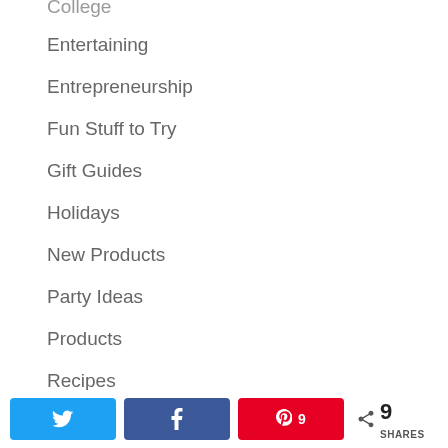College
Entertaining
Entrepreneurship
Fun Stuff to Try
Gift Guides
Holidays
New Products
Party Ideas
Products
Recipes
Seasonal
Thoughts
Twitter Facebook Pinterest 9 SHARES